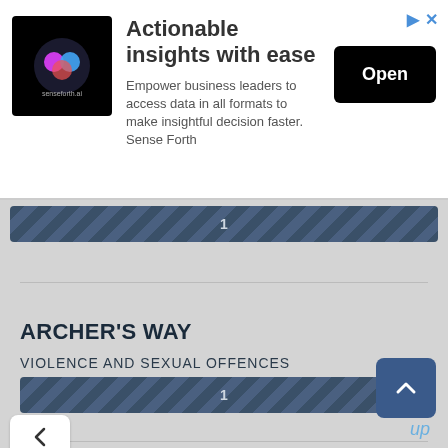[Figure (screenshot): Advertisement banner: senseforth.ai logo, title 'Actionable insights with ease', body text, and Open button]
ARCHER'S WAY
VIOLENCE AND SEXUAL OFFENCES
[Figure (infographic): Striped bar showing count: 1]
WATERLOO CLOSE
VIOLENCE AND SEXUAL OFFENCES
[Figure (infographic): Striped bar showing count: 1]